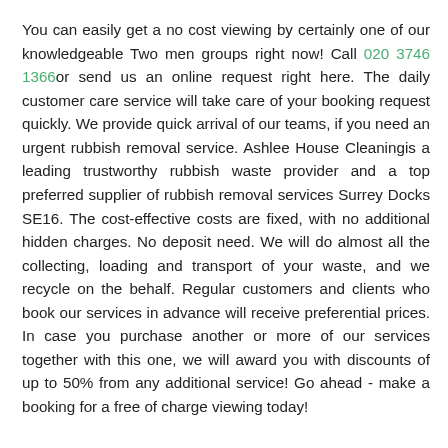You can easily get a no cost viewing by certainly one of our knowledgeable Two men groups right now! Call 020 3746 1366or send us an online request right here. The daily customer care service will take care of your booking request quickly. We provide quick arrival of our teams, if you need an urgent rubbish removal service. Ashlee House Cleaningis a leading trustworthy rubbish waste provider and a top preferred supplier of rubbish removal services Surrey Docks SE16. The cost-effective costs are fixed, with no additional hidden charges. No deposit need. We will do almost all the collecting, loading and transport of your waste, and we recycle on the behalf. Regular customers and clients who book our services in advance will receive preferential prices. In case you purchase another or more of our services together with this one, we will award you with discounts of up to 50% from any additional service! Go ahead - make a booking for a free of charge viewing today!